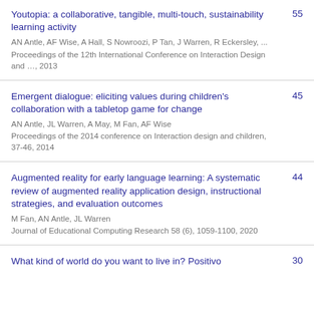Youtopia: a collaborative, tangible, multi-touch, sustainability learning activity | AN Antle, AF Wise, A Hall, S Nowroozi, P Tan, J Warren, R Eckersley, ... | Proceedings of the 12th International Conference on Interaction Design and …, 2013 | 55
Emergent dialogue: eliciting values during children's collaboration with a tabletop game for change | AN Antle, JL Warren, A May, M Fan, AF Wise | Proceedings of the 2014 conference on Interaction design and children, 37-46, 2014 | 45
Augmented reality for early language learning: A systematic review of augmented reality application design, instructional strategies, and evaluation outcomes | M Fan, AN Antle, JL Warren | Journal of Educational Computing Research 58 (6), 1059-1100, 2020 | 44
What kind of world do you want to live in? Positivo... | 30